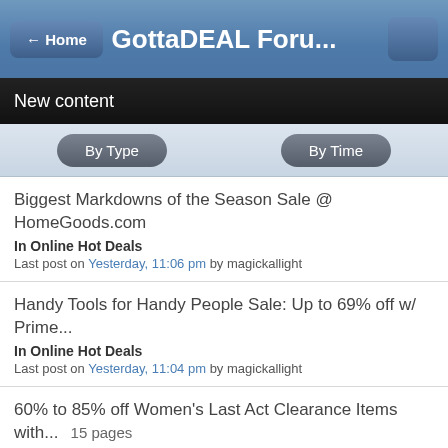← Home  GottaDEAL Foru...
New content
By Type   By Time
Biggest Markdowns of the Season Sale @ HomeGoods.com
In Online Hot Deals
Last post on Yesterday, 11:06 pm by magickallight
Handy Tools for Handy People Sale: Up to 69% off w/ Prime...
In Online Hot Deals
Last post on Yesterday, 11:04 pm by magickallight
60% to 85% off Women's Last Act Clearance Items with...  15 pages
In Online Hot Deals
Last post on Yesterday, 10:57 pm by magickallight
Amazon Toy Clearance Deal Thread - 2022 Edition  48 pages
In Online Hot Deals
Last post on Yesterday, 10:20 pm by magickallight